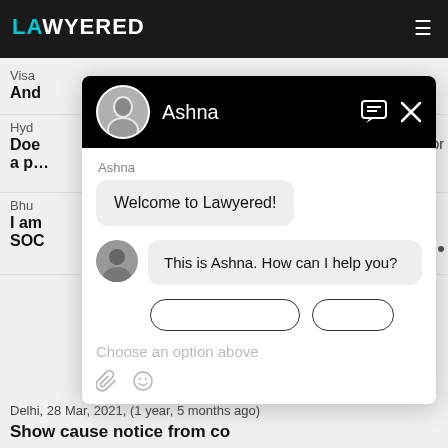LAWYERED
Visa
And
Hyd
Does ... for a p...
Bhu
I am SOC
[Figure (screenshot): Chat widget showing a conversation with Ashna on Lawyered platform. The chat header has a black background with Ashna's avatar photo and name. Two messages are visible: 'Welcome to Lawyered!' in a grey bubble, and 'This is Ashna. How can I help you?' in another grey bubble with Ashna's avatar. Below is a partially visible button row, a 'Choose an option above' placeholder, and attachment/emoji icons at the bottom.]
Delhi,  28 Mar, 2021,  (1 year, 5 months ago)
Show cause notice from co